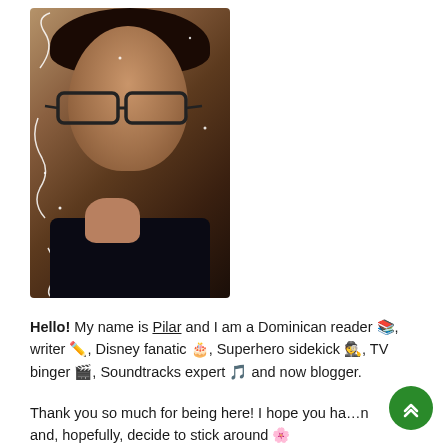[Figure (photo): Portrait photo of a young woman with dark curly hair, wearing glasses, resting her chin on her hand. Has artistic white squiggle overlay effect on the photo.]
Hello! My name is Pilar and I am a Dominican reader 📚, writer ✏️, Disney fanatic 🎂, Superhero sidekick 🕵️, TV binger 🎬, Soundtracks expert 🎵 and now blogger.
Thank you so much for being here! I hope you ha… and, hopefully, decide to stick around 🌸